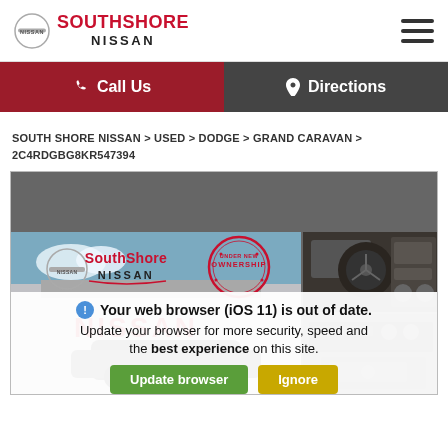[Figure (logo): South Shore Nissan logo with Nissan circle emblem and red SouthShore Nissan text]
SOUTH SHORE NISSAN — Call Us | Directions navigation bar
SOUTH SHORE NISSAN > USED > DODGE > GRAND CARAVAN > 2C4RDGBG8KR547394
[Figure (photo): Vehicle listing page showing South Shore Nissan logo with Under New Ownership stamp, exterior shot of Dodge Grand Caravan at dealership with NISSAN sign, and two interior thumbnail photos showing dashboard and center console. Overlaid browser warning notification.]
Your web browser (iOS 11) is out of date. Update your browser for more security, speed and the best experience on this site.
Update browser
Ignore